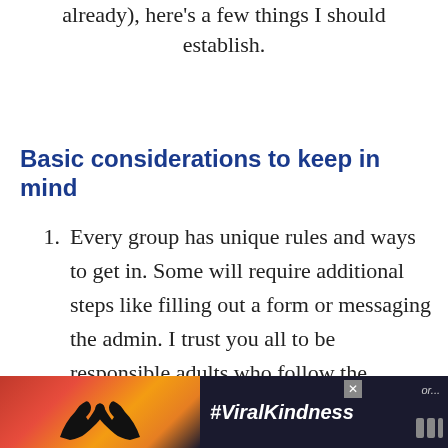already), here's a few things I should establish.
Basic considerations to keep in mind
Every group has unique rules and ways to get in. Some will require additional steps like filling out a form or messaging the admin. I trust you all to be responsible adults who follow the appropriate steps!
[Figure (photo): Advertisement banner showing silhouette of hands forming a heart shape against a colorful sunset background with text #ViralKindness]